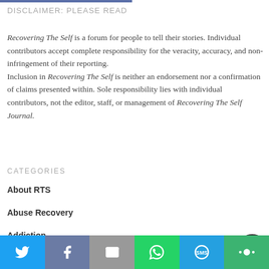DISCLAIMER: PLEASE READ
Recovering The Self is a forum for people to tell their stories. Individual contributors accept complete responsibility for the veracity, accuracy, and non-infringement of their reporting. Inclusion in Recovering The Self is neither an endorsement nor a confirmation of claims presented within. Sole responsibility lies with individual contributors, not the editor, staff, or management of Recovering The Self Journal.
CATEGORIES
About RTS
Abuse Recovery
Addiction